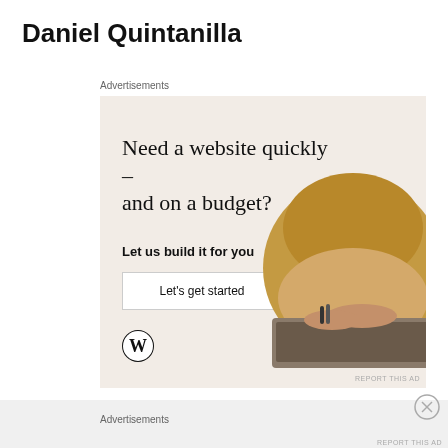Daniel Quintanilla
Advertisements
[Figure (infographic): WordPress advertisement with text 'Need a website quickly – and on a budget? Let us build it for you' with a 'Let's get started' button, WordPress logo, and circular photo of hands typing on laptop.]
Advertisements